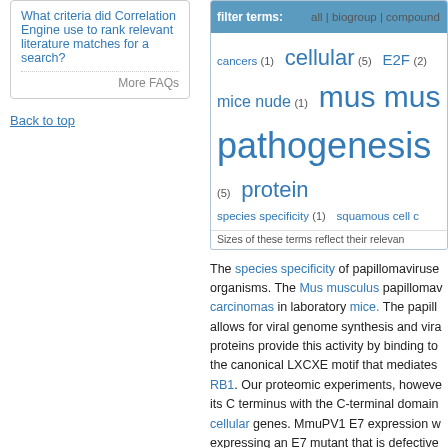What criteria did Correlation Engine use to rank relevant literature matches for a search?
More FAQs
Back to top
[Figure (other): Filter terms tag cloud showing: all | biogroup | compound; cancers (1), cellular (5), E2F (2), mice nude (1), mus mus[culus], pathogenesis (5), protein, species specificity (1), squamous cell c[arcinoma]. Sizes of these terms reflect their relevance.]
The species specificity of papillomaviruses organisms. The Mus musculus papillomav[irus] carcinomas in laboratory mice. The papill[omavirus] allows for viral genome synthesis and vira[l] proteins provide this activity by binding to the canonical LXCXE motif that mediates RB1. Our proteomic experiments, however its C terminus with the C-terminal domain cellular genes. MmuPV1 E7 expression w[ith] expressing an E7 mutant that is defective results demonstrate that the MmuPV1 E7 RB1's ability to modulate the expression o[f] Papillomavirus infections cause a variety cause lesions that can progress to squam[ous] papillomavirus (HPV) infections. The papi[llomavirus] viral genome replication in terminally diffe[rentiated] interacting and functionally altering host c[ell] identified, but the biological relevance of [the]